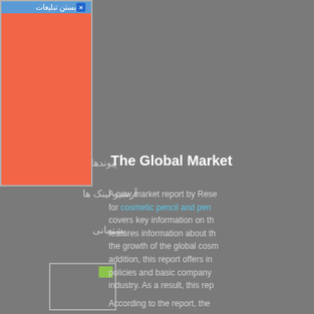[Figure (other): Advertisement popup panel with orange/red background and Farsi header text 'بستن تبلیغات' with a close button X]
پیوندها
آرشیو لینک ها
پشتیبانی
[Figure (photo): Small image thumbnail with green icon in top-right corner]
The Global Market
A new market report by Rese for cosmetic pencil and pen covers key information on th features information about th the growth of the global cosm addition, this report offers in policies and basic company industry. As a result, this rep .decisions and stay up to da
According to the report, the